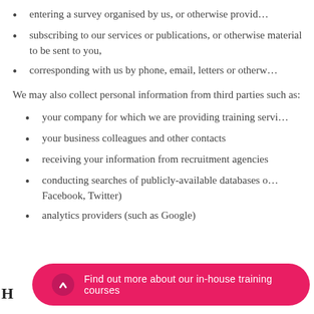entering a survey organised by us, or otherwise provid…
subscribing to our services or publications, or otherwise material to be sent to you,
corresponding with us by phone, email, letters or otherw…
We may also collect personal information from third parties such as:
your company for which we are providing training servi…
your business colleagues and other contacts
receiving your information from recruitment agencies
conducting searches of publicly-available databases o… Facebook, Twitter)
analytics providers (such as Google)
Find out more about our in-house training courses